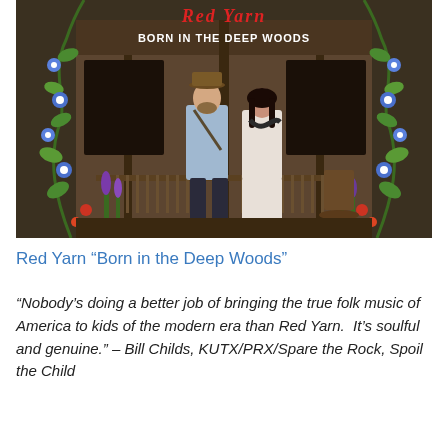[Figure (photo): Album cover for Red Yarn 'Born in the Deep Woods' showing two people standing on a rustic wooden porch surrounded by painted wildflowers and vines. Text at top reads 'BORN IN THE DEEP WOODS' in white letters.]
Red Yarn “Born in the Deep Woods”
“Nobody’s doing a better job of bringing the true folk music of America to kids of the modern era than Red Yarn.  It’s soulful and genuine.” – Bill Childs, KUTX/PRX/Spare the Rock, Spoil the Child